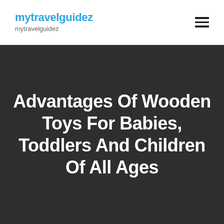mytravelguidez
mytravelguidez
Advantages Of Wooden Toys For Babies, Toddlers And Children Of All Ages